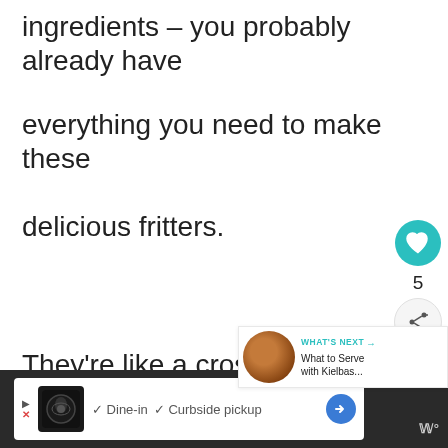ingredients – you probably already have
everything you need to make these
delicious fritters.
They're like a cross between acorn
[Figure (screenshot): What's Next panel showing a food image thumbnail with text 'WHAT'S NEXT → What to Serve with Kielbas...']
[Figure (screenshot): Advertisement bar at bottom with restaurant listing showing Dine-in and Curbside pickup options]